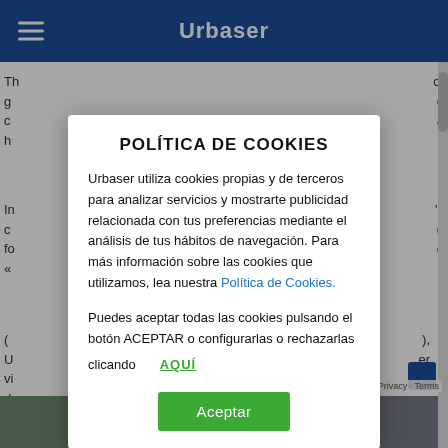Urbaser
[Figure (screenshot): Urbaser website background page with partial text content visible around a cookie policy modal overlay]
POLÍTICA DE COOKIES
Urbaser utiliza cookies propias y de terceros para analizar servicios y mostrarte publicidad relacionada con tus preferencias mediante el análisis de tus hábitos de navegación. Para más información sobre las cookies que utilizamos, lea nuestra Política de Cookies.
Puedes aceptar todas las cookies pulsando el botón ACEPTAR o configurarlas o rechazarlas clicando AQUÍ
Privacy · Terms